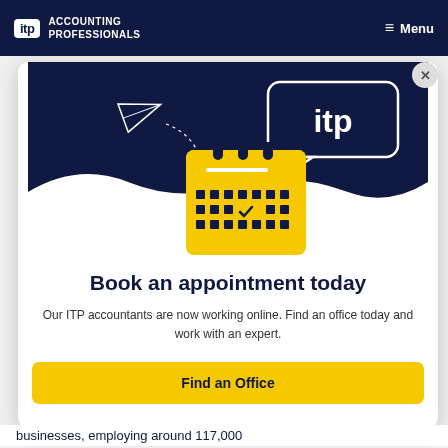itp ACCOUNTING PROFESSIONALS  ≡ Menu
[Figure (illustration): ITP branded modal popup showing a yellow calendar icon with a checkmark, a paper airplane, and a speech bubble with 'itp' text on a dark navy background with white wave at the bottom.]
Book an appointment today
Our ITP accountants are now working online. Find an office today and work with an expert.
Find an Office
businesses, employing around 117,000